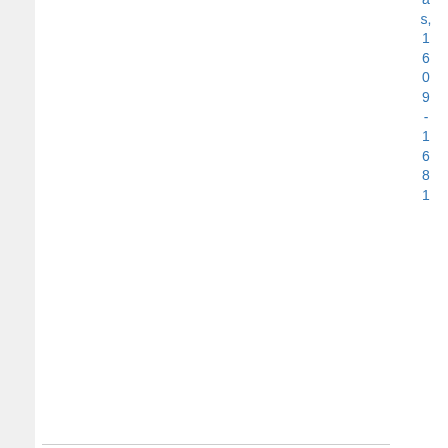as, 1609 - 1681
Online Access
Fulltext online
L